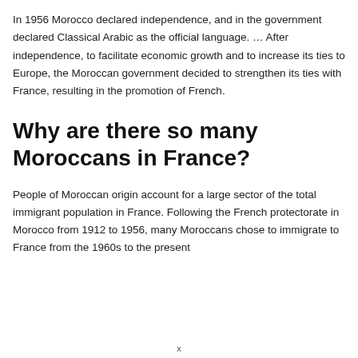In 1956 Morocco declared independence, and in the government declared Classical Arabic as the official language. … After independence, to facilitate economic growth and to increase its ties to Europe, the Moroccan government decided to strengthen its ties with France, resulting in the promotion of French.
Why are there so many Moroccans in France?
People of Moroccan origin account for a large sector of the total immigrant population in France. Following the French protectorate in Morocco from 1912 to 1956, many Moroccans chose to immigrate to France from the 1960s to the present
x